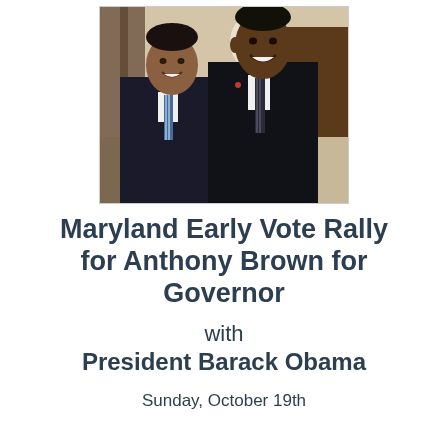[Figure (photo): Two men in dark suits and ties standing together and smiling, posed for a photo indoors.]
Maryland Early Vote Rally for Anthony Brown for Governor
with
President Barack Obama
Sunday, October 19th